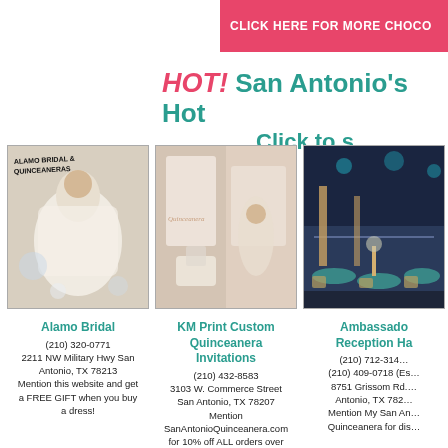CLICK HERE FOR MORE CHOCO…
HOT! San Antonio's Hot…
Click to s…
[Figure (photo): Alamo Bridal & Quinceaneras – woman in white dress lying down]
Alamo Bridal
(210) 320-0771
2211 NW Military Hwy San Antonio, TX 78213
Mention this website and get a FREE GIFT when you buy a dress!
[Figure (photo): KM Print Custom Quinceanera Invitations – decorative invitations and girl in dress]
KM Print Custom Quinceanera Invitations
(210) 432-8583
3103 W. Commerce Street San Antonio, TX 78207
Mention SanAntonioQuinceanera.com for 10% off ALL orders over $100! Military gets 15% off
[Figure (photo): Ambassador Reception Hall – decorated banquet hall with teal and gold]
Ambassador Reception Ha…
(210) 712-314…
(210) 409-0718 (Es…
8751 Grissom Rd. … Antonio, TX 782…
Mention My San An… Quinceanera for dis…